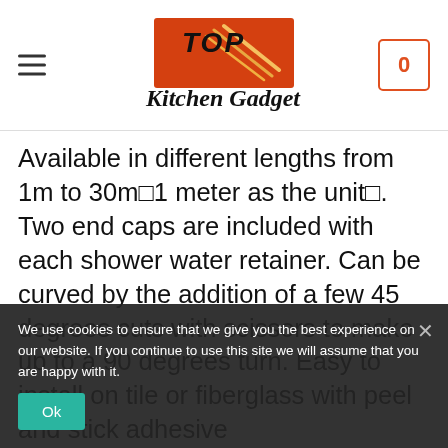Top Kitchen Gadget — navigation header with hamburger menu and cart icon
Available in different lengths from 1m to 30mâ1 meter as the unitâ. Two end caps are included with each shower water retainer. Can be curved by the addition of a few 45 degrees cuts with scissors to make up to a 90 degrees turn. Easy to install on tile or fiberglass with peel and stick adhesive
Ideal for wheelchair accessible, accessibility or ADA showers with no curb or threshold and can even be installed as corner water blocker. Perfect quick dam, flood barrier or rubber water...
We use cookies to ensure that we give you the best experience on our website. If you continue to use this site we will assume that you are happy with it.